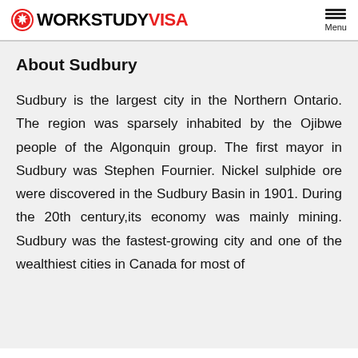WORKSTUDY VISA
About Sudbury
Sudbury is the largest city in the Northern Ontario. The region was sparsely inhabited by the Ojibwe people of the Algonquin group. The first mayor in Sudbury was Stephen Fournier. Nickel sulphide ore were discovered in the Sudbury Basin in 1901. During the 20th century,its economy was mainly mining. Sudbury was the fastest-growing city and one of the wealthiest cities in Canada for most of